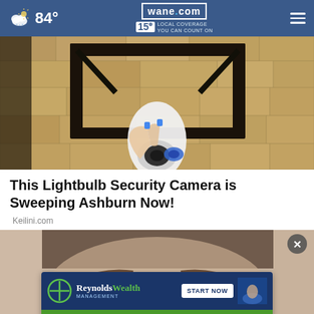84° | wane.com | 15 LOCAL COVERAGE YOU CAN COUNT ON
[Figure (photo): A white lightbulb security camera mounted in a black metal bracket on a stone/stucco wall, with a hand holding or installing it]
This Lightbulb Security Camera is Sweeping Ashburn Now!
Keilini.com
[Figure (photo): Bottom section showing a person's face (partially visible, blurred) with a Reynolds Wealth Management advertisement overlay. Ad reads: Reynolds Wealth Management | START NOW | SAVE > INVEST > RETIRE]
[Figure (advertisement): Reynolds Wealth Management ad banner: logo with green cross symbol, START NOW button, SAVE > INVEST > RETIRE tagline on green background]